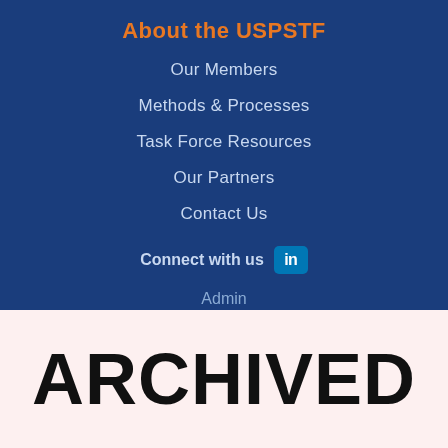About the USPSTF
Our Members
Methods & Processes
Task Force Resources
Our Partners
Contact Us
Connect with us [LinkedIn]
Admin
Login
ARCHIVED